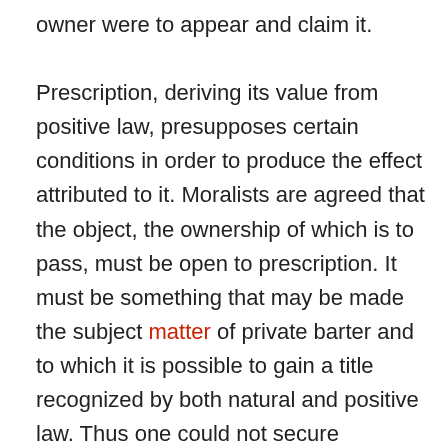owner were to appear and claim it.

Prescription, deriving its value from positive law, presupposes certain conditions in order to produce the effect attributed to it. Moralists are agreed that the object, the ownership of which is to pass, must be open to prescription. It must be something that may be made the subject matter of private barter and to which it is possible to gain a title recognized by both natural and positive law. Thus one could not secure dominion over a public highway on pretence that prescription had operated in his behalf. The reason is that the authority of the law cannot be invoked, without which the process falls.